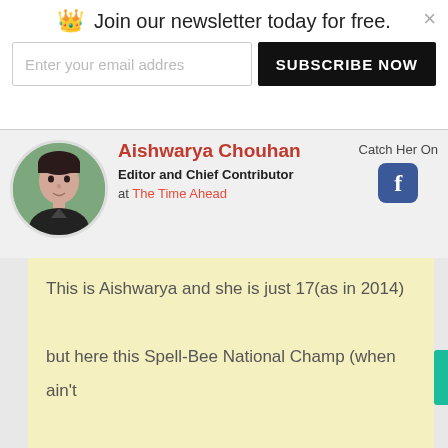Join our newsletter today for free.
Enter your email addres
SUBSCRIBE NOW
Aishwarya Chouhan
Editor and Chief Contributor
at The Time Ahead
Catch Her On
This is Aishwarya and she is just 17(as in 2014) but here this Spell-Bee National Champ (when ain't glued to school) will be wielding-ameliorating and amending + would directly be focusing on some of the top most-modern articles and reviews over a peculiar course to keep you all up-to-the-minute